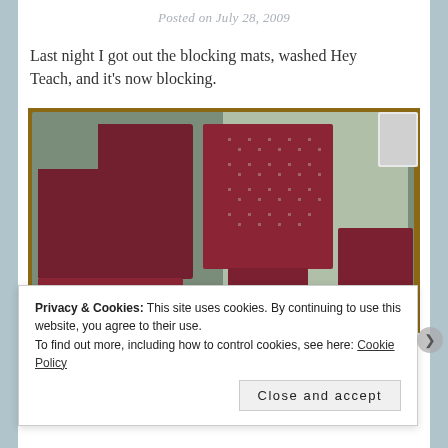Posted on July 28, 2009
Last night I got out the blocking mats, washed Hey Teach, and it's now blocking.
[Figure (photo): Knitted garment pieces laid out flat on grey foam blocking mats on a wooden floor. The pieces are dark red/maroon coloured knitting, showing different sections of what appears to be a sweater being blocked after washing.]
Privacy & Cookies: This site uses cookies. By continuing to use this website, you agree to their use.
To find out more, including how to control cookies, see here: Cookie Policy
Close and accept